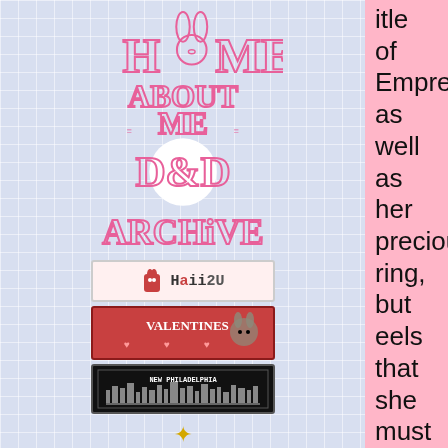HOME | ABOUT ME | D&D | ARCHIVE
itle of Empress, as well as her precious ring, but eels that she must finish he job she started with he Archivers. If everything turns out alright, maybe she'll eventually come back and take her rightful place on the throne.
TRIVIA
She loves sweets and baked goods, but is a terrible cook.
While on long road trips or in moments of idleness, Kaen often